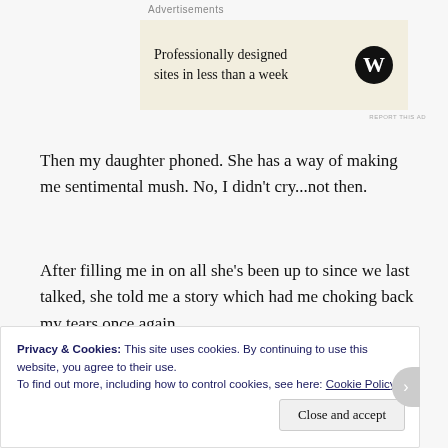Advertisements
[Figure (other): Advertisement box with text 'Professionally designed sites in less than a week' and WordPress logo on beige background]
Then my daughter phoned. She has a way of making me sentimental mush. No, I didn't cry...not then.
After filling me in on all she's been up to since we last talked, she told me a story which had me choking back my tears once again.
An elderly gentleman stopped at a Discount Tire store to have a tire repaired. Upon looking it over, the young
Privacy & Cookies: This site uses cookies. By continuing to use this website, you agree to their use.
To find out more, including how to control cookies, see here: Cookie Policy